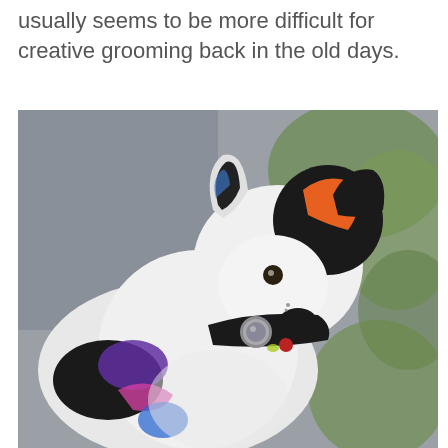usually seems to be more difficult for creative grooming back in the old days.
[Figure (photo): A white dog with creative grooming — colorful dye patches including orange on head/ear, purple and pink on body, blue near front leg, black natural markings. The dog wears a black leather collar with a silver medallion and a small red tag. Background is blurred grey and green.]